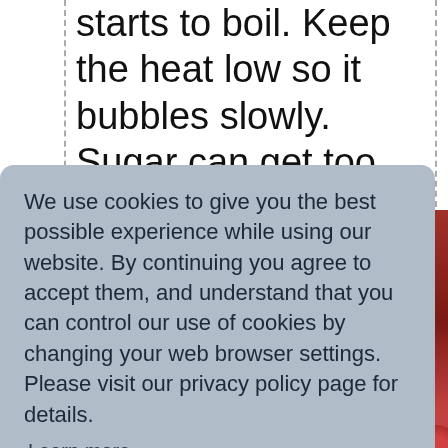starts to boil. Keep the heat low so it bubbles slowly. Sugar can get too hot and burn, which spoils the flavor. Stir in the salt and the tamarind paste and continue boiling.
We use cookies to give you the best possible experience while using our website. By continuing you agree to accept them, and understand that you can control our use of cookies by changing your web browser settings. Please visit our privacy policy page for details.
Learn more
Got it!